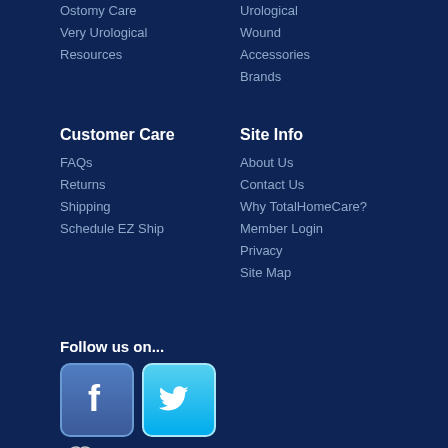Ostomy Care
Very Urological
Resources
Urological
Wound
Accessories
Brands
Customer Care
FAQs
Returns
Shipping
Schedule EZ Ship
Site Info
About Us
Contact Us
Why TotalHomeCare?
Member Login
Privacy
Site Map
Follow us on...
[Figure (logo): Facebook and Twitter social media icons followed by TotalHomeCareBlog logo with heart icon]